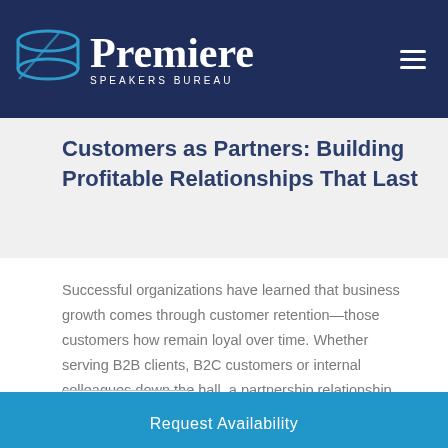Premiere Speakers Bureau
Customers as Partners: Building Profitable Relationships That Last
Successful organizations have learned that business growth comes through customer retention—those customers how remain loyal over time. Whether serving B2B clients, B2C customers or internal colleagues down the hall, a partnership relationship can be the powerful tie that binds. It is the...
Read more
Request Availability